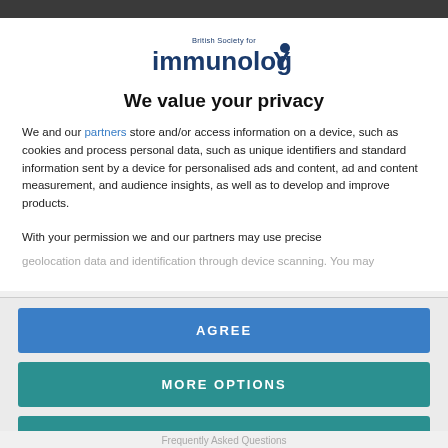[Figure (logo): British Society for Immunology logo with text 'British Society for immunologY' and a circular dot above the Y]
We value your privacy
We and our partners store and/or access information on a device, such as cookies and process personal data, such as unique identifiers and standard information sent by a device for personalised ads and content, ad and content measurement, and audience insights, as well as to develop and improve products.
With your permission we and our partners may use precise geolocation data and identification through device scanning. You may
AGREE
MORE OPTIONS
DISAGREE
Frequently Asked Questions